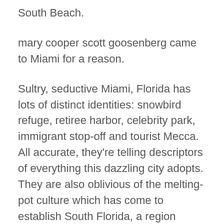South Beach.
mary cooper scott goosenberg came to Miami for a reason.
Sultry, seductive Miami, Florida has lots of distinct identities: snowbird refuge, retiree harbor, celebrity park, immigrant stop-off and tourist Mecca. All accurate, they're telling descriptors of everything this dazzling city adopts. They are also oblivious of the melting-pot culture which has come to establish South Florida, a region originally dismissed by developers. The area later discovered purpose for a resort destination and as plantation property to